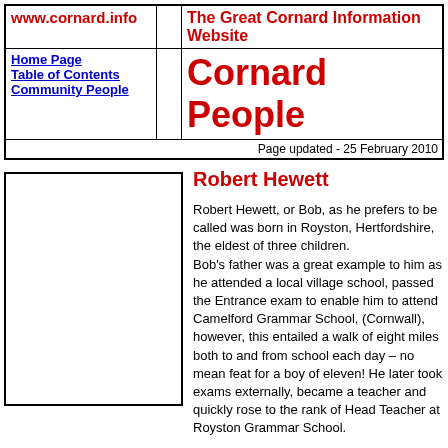www.cornard.info | The Great Cornard Information Website
Cornard People
Home Page
Table of Contents
Community People
Page updated - 25 February 2010
[Figure (photo): Empty photo placeholder box for Robert Hewett]
Robert Hewett
Robert Hewett, or Bob, as he prefers to be called was born in Royston, Hertfordshire, the eldest of three children.
Bob's father was a great example to him as he attended a local village school, passed the Entrance exam to enable him to attend Camelford Grammar School, (Cornwall), however, this entailed a walk of eight miles both to and from school each day – no mean feat for a boy of eleven!  He later took exams externally, became a teacher and quickly rose to the rank of Head Teacher at Royston Grammar School.
Bob himself qualified as a teacher at Saltley College, Birmingham in 1939, and when war came he was called up. He was assured he would